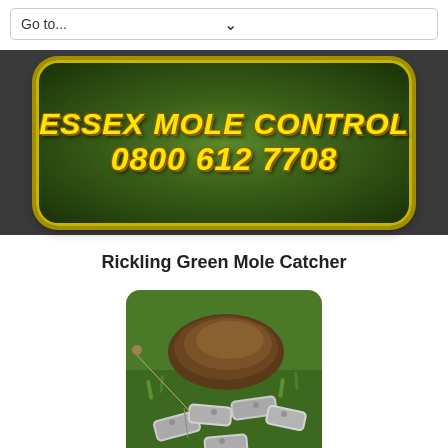Go to...
[Figure (logo): Essex Mole Control banner with green grass background, yellow bold text reading ESSEX MOLE CONTROL and phone number 0800 612 7708]
Rickling Green Mole Catcher
[Figure (photo): Photo of mole traps (cylindrical metal traps) lying on green grass beside a molehill (mound of dark earth)]